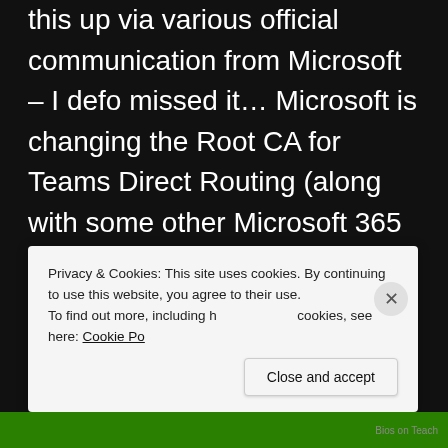this up via various official communication from Microsoft – I defo missed it… Microsoft is changing the Root CA for Teams Direct Routing (along with some other Microsoft 365 workloads). Microsoft originally released a message back in March this year
Privacy & Cookies: This site uses cookies. By continuing to use this website, you agree to their use. To find out more, including how to control cookies, see here: Cookie Policy